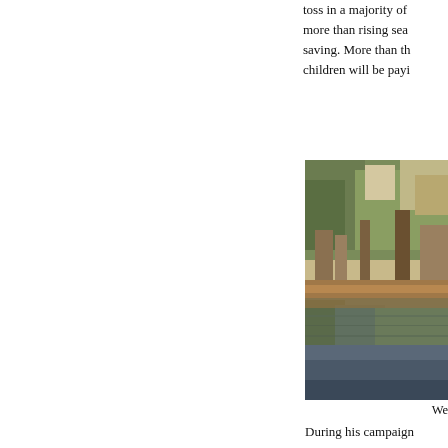toss in a majority of more than rising sea saving. More than th children will be payi
[Figure (photo): Outdoor scene showing trees and their reflection in still water, with a wooden structure or bridge visible near the waterline.]
We
During his campaign